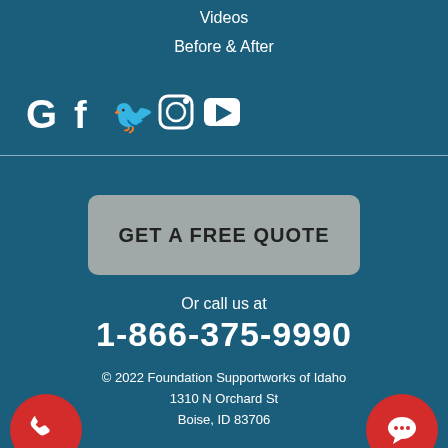Videos
Before & After
[Figure (other): Social media icons: Google, Facebook, Twitter, Instagram, YouTube]
GET A FREE QUOTE
Or call us at
1-866-375-9990
© 2022 Foundation Supportworks of Idaho
1310 N Orchard St
Boise, ID 83706